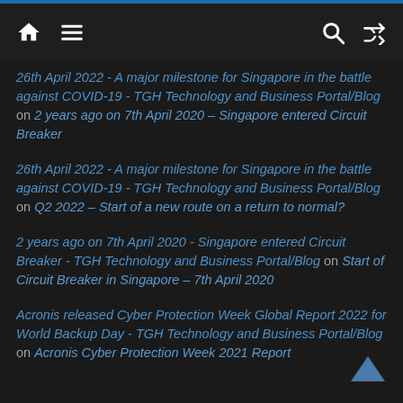[Navigation bar with home, menu, search, shuffle icons]
26th April 2022 - A major milestone for Singapore in the battle against COVID-19 - TGH Technology and Business Portal/Blog on 2 years ago on 7th April 2020 – Singapore entered Circuit Breaker
26th April 2022 - A major milestone for Singapore in the battle against COVID-19 - TGH Technology and Business Portal/Blog on Q2 2022 – Start of a new route on a return to normal?
2 years ago on 7th April 2020 - Singapore entered Circuit Breaker - TGH Technology and Business Portal/Blog on Start of Circuit Breaker in Singapore – 7th April 2020
Acronis released Cyber Protection Week Global Report 2022 for World Backup Day - TGH Technology and Business Portal/Blog on Acronis Cyber Protection Week 2021 Report